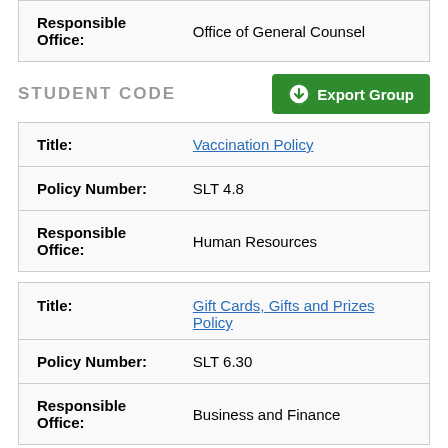| Field | Value |
| --- | --- |
| Responsible Office: | Office of General Counsel |
STUDENT CODE
| Field | Value |
| --- | --- |
| Title: | Vaccination Policy |
| Policy Number: | SLT 4.8 |
| Responsible Office: | Human Resources |
| Field | Value |
| --- | --- |
| Title: | Gift Cards, Gifts and Prizes Policy |
| Policy Number: | SLT 6.30 |
| Responsible Office: | Business and Finance |